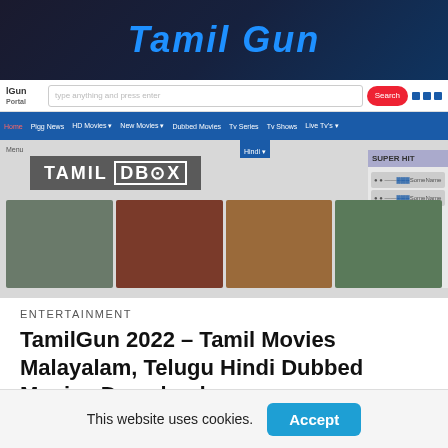[Figure (screenshot): Screenshot of TamilGun website showing banner with 'Tamil Gun' logo, search bar, blue navigation menu, Tamil DBOX content area with movie thumbnails and Super Hit sidebar]
ENTERTAINMENT
TamilGun 2022 – Tamil Movies Malayalam, Telugu Hindi Dubbed Movies Download
Tamilgun is a very much popular torrent website. Which leaks the latest Tamil, Telugu, Bollywood, Hollywood, Punjabi, Malayalam, or
This website uses cookies.
Accept